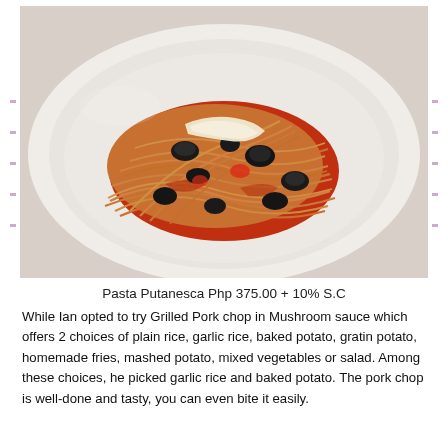[Figure (photo): A plate of Pasta Putanesca with tomato sauce, black olives, and melted cheese on top, served on a white round plate.]
Pasta Putanesca Php 375.00 + 10% S.C
While Ian opted to try Grilled Pork chop in Mushroom sauce which offers 2 choices of plain rice, garlic rice, baked potato, gratin potato, homemade fries, mashed potato, mixed vegetables or salad. Among these choices, he picked garlic rice and baked potato. The pork chop is well-done and tasty, you can even bite it easily.